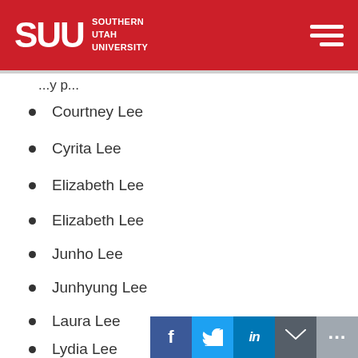SUU Southern Utah University
Courtney Lee
Cyrita Lee
Elizabeth Lee
Elizabeth Lee
Junho Lee
Junhyung Lee
Laura Lee
Lydia Lee
Monica Lee